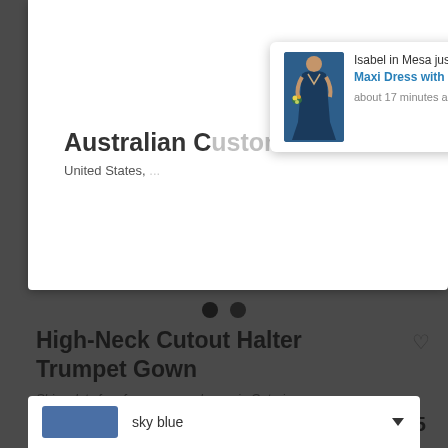[Figure (screenshot): Product page screenshot showing a dark background with a white popup notification overlay. The notification shows a woman in a navy blue dress and text about a purchase. Below the popup is product information for a High-Neck Cutout Halter Trumpet Gown.]
Isabel in Mesa just bought Sleeveless Draped Chiffon Maxi Dress with Front Slit
about 17 minutes ago
Australian C[ustomers]
United States, [...]
High-Neck Cutout Halter Trumpet Gown
Ships duty free from our warehouse in Ontario.
After Six Style 6808  |  Crepe
C$335
Write a review
sky blue